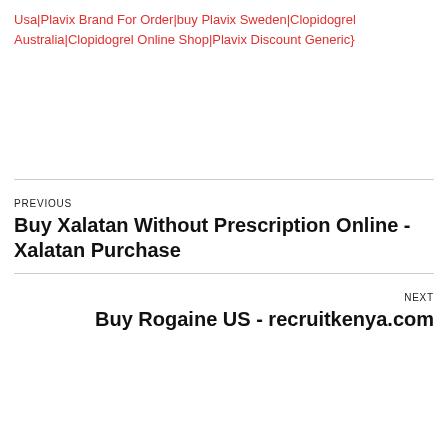Usa|Plavix Brand For Order|buy Plavix Sweden|Clopidogrel Australia|Clopidogrel Online Shop|Plavix Discount Generic}
PREVIOUS
Buy Xalatan Without Prescription Online - Xalatan Purchase
NEXT
Buy Rogaine US - recruitkenya.com